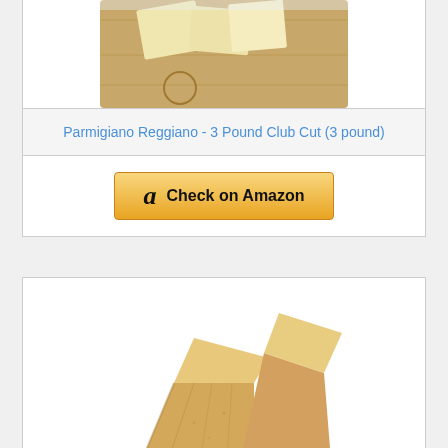[Figure (photo): Sliced Parmigiano Reggiano cheese on a wooden cutting board, viewed from above, partial image at top of page]
Parmigiano Reggiano - 3 Pound Club Cut (3 pound)
[Figure (other): Check on Amazon button with Amazon logo]
[Figure (photo): Two wedges of Parmigiano Reggiano cheese with a cheese knife on a white background]
Parmigiano Reggiano Top Grade 2x1LB Wedges